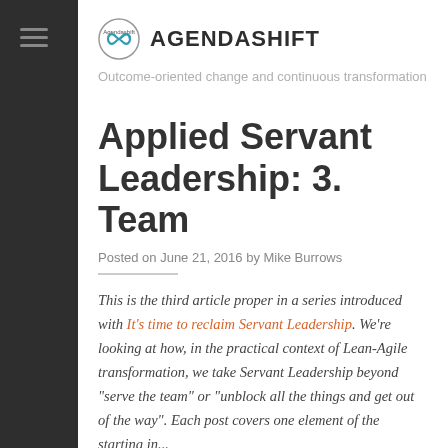[Figure (logo): Agendashift logo with infinity symbol icon and AGENDASHIFT text, plus tagline 'Outcome-oriented change and continuous transformation']
Applied Servant Leadership: 3. Team
Posted on June 21, 2016 by Mike Burrows
This is the third article proper in a series introduced with It's time to reclaim Servant Leadership. We're looking at how, in the practical context of Lean-Agile transformation, we take Servant Leadership beyond "serve the team" or "unblock all the things and get out of the way". Each post covers one element of the starting in...